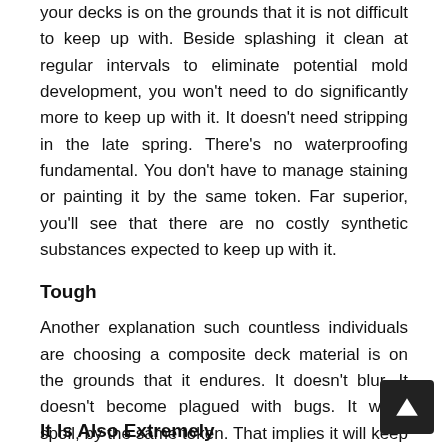your decks is on the grounds that it is not difficult to keep up with. Beside splashing it clean at regular intervals to eliminate potential mold development, you won't need to do significantly more to keep up with it. It doesn't need stripping in the late spring. There's no waterproofing fundamental. You don't have to manage staining or painting it by the same token. Far superior, you'll see that there are no costly synthetic substances expected to keep up with it.
Tough
Another explanation such countless individuals are choosing a composite deck material is on the grounds that it endures. It doesn't blur. It doesn't become plagued with bugs. It won't spoil, by the same token. That implies it will keep going for quite a long time. The speculation you make in it will probably last you for at least 20 years. A few even accompany a guarantee that is similarly as
It Is Also Extremely